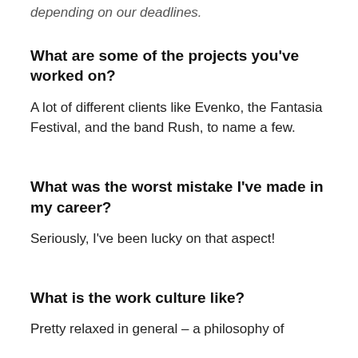depending on our deadlines.
What are some of the projects you've worked on?
A lot of different clients like Evenko, the Fantasia Festival, and the band Rush, to name a few.
What was the worst mistake I've made in my career?
Seriously, I've been lucky on that aspect!
What is the work culture like?
Pretty relaxed in general – a philosophy of